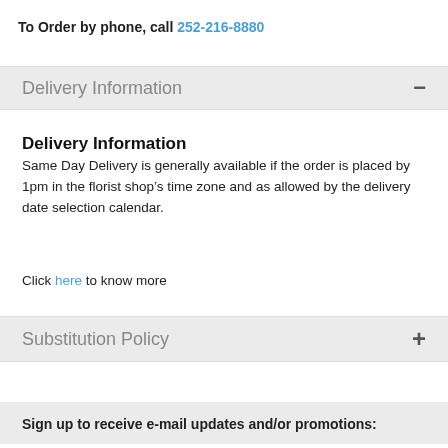To Order by phone, call 252-216-8880
Delivery Information
Delivery Information
Same Day Delivery is generally available if the order is placed by 1pm in the florist shop’s time zone and as allowed by the delivery date selection calendar.
Click here to know more
Substitution Policy
Sign up to receive e-mail updates and/or promotions: